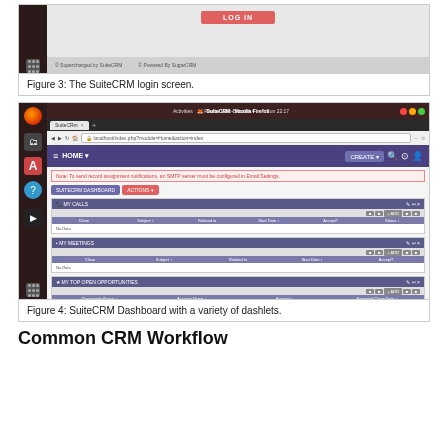[Figure (screenshot): Top portion of SuiteCRM login screen with LOG IN button and Ubuntu sidebar]
Figure 3: The SuiteCRM login screen.
[Figure (screenshot): SuiteCRM Dashboard in Mozilla Firefox showing Home page with dashlets: MY CALLS, MY MEETINGS, MY TOP OPEN OPPORTUNITIES]
Figure 4: SuiteCRM Dashboard with a variety of dashlets.
Common CRM Workflow